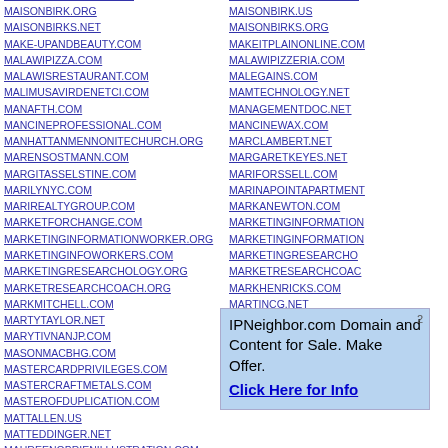MAISONBIRK.ORG
MAISONBIRKS.NET
MAKE-UPANDBEAUTY.COM
MALAWIPIZZA.COM
MALAWISRESTAURANT.COM
MALIMUSAVIRDENETCI.COM
MANAFTH.COM
MANCINEPROFESSIONAL.COM
MANHATTANMENNONITECHURCH.ORG
MARENSOSTMANN.COM
MARGITASSELSTINE.COM
MARILYNYC.COM
MARIREALTYGROUP.COM
MARKETFORCHANGE.COM
MARKETINGINFORMATIONWORKER.ORG
MARKETINGINFOWORKERS.COM
MARKETINGRESEARCHOLOGY.ORG
MARKETRESEARCHCOACH.ORG
MARKMITCHELL.COM
MARTYTAYLOR.NET
MARYTIVNANJP.COM
MASONMACBHG.COM
MASTERCARDPRIVILEGES.COM
MASTERCRAFTMETALS.COM
MASTEROFDUPLICATION.COM
MATTALLEN.US
MATTEDDINGER.NET
MAUREENOB RIENILLUSTRATION.COM
MAISONBIRK.US
MAISONBIRKS.ORG
MAKEITPLAINONLINE.COM
MALAWIPIZZERIA.COM
MALEGAINS.COM
MAMTECHNOLOGY.NET
MANAGEMENTDOC.NET
MANCINEWAX.COM
MARCLAMBERT.NET
MARGARETKEYES.NET
MARIFORSSELL.COM
MARINAPOINTAPARTMENTS
MARKANEWTON.COM
MARKETINGINFORMATION
MARKETINGINFORMATION
MARKETINGRESEARCHO
MARKETRESEARCHCOAC
MARKHENRICKS.COM
MARTINCG.NET
MARVERIX.COM
MARZ233.COM
MASONMCDUFFIE.COM
MASTERCONNECTION.COM
[Figure (other): IPNeighbor.com advertisement box: 'IPNeighbor.com Domain and Content for Sale. Make Offer. Click Here for Info']